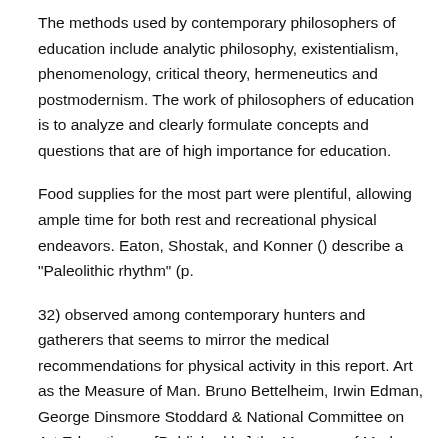The methods used by contemporary philosophers of education include analytic philosophy, existentialism, phenomenology, critical theory, hermeneutics and postmodernism. The work of philosophers of education is to analyze and clearly formulate concepts and questions that are of high importance for education.
Food supplies for the most part were plentiful, allowing ample time for both rest and recreational physical endeavors. Eaton, Shostak, and Konner () describe a "Paleolithic rhythm" (p.
32) observed among contemporary hunters and gatherers that seems to mirror the medical recommendations for physical activity in this report. Art as the Measure of Man. Bruno Bettelheim, Irwin Edman, George Dinsmore Stoddard & National Committee on Art Education - - [Published by] the Museum of Modern Art for the National Committee on Art Education; Distributed by Doubleday, Garden City, N.
Internet encyclopedia of philosophy states that behaviorism focuses on behaviors that are objective. It discounts mental activities by explaining learning through observable behaviors and ignoring mental